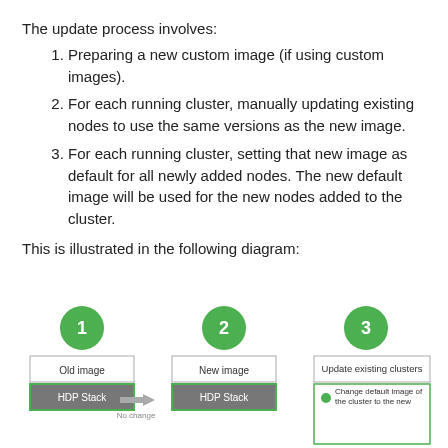The update process involves:
Preparing a new custom image (if using custom images).
For each running cluster, manually updating existing nodes to use the same versions as the new image.
For each running cluster, setting that new image as default for all newly added nodes. The new default image will be used for the new nodes added to the cluster.
This is illustrated in the following diagram:
[Figure (infographic): Three-step diagram showing: Step 1 (Old image with HDP Stack), Step 2 (New image with HDP Stack), Step 3 (Update existing clusters - Change default image of the cluster to the new). Steps connected by arrow labeled No change.]